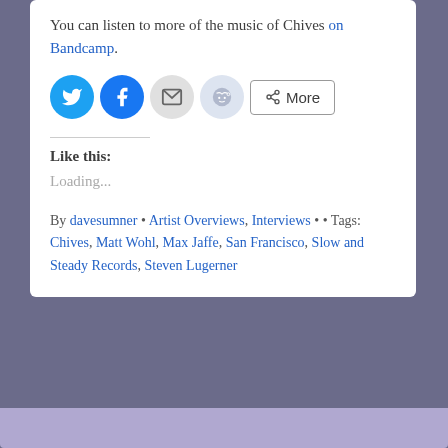You can listen to more of the music of Chives on Bandcamp.
[Figure (other): Social share buttons: Twitter (blue circle), Facebook (blue circle), Email (gray circle), Reddit (light blue circle), and a More button with share icon]
Like this:
Loading...
By davesumner • Artist Overviews, Interviews • • Tags: Chives, Matt Wohl, Max Jaffe, San Francisco, Slow and Steady Records, Steven Lugerner